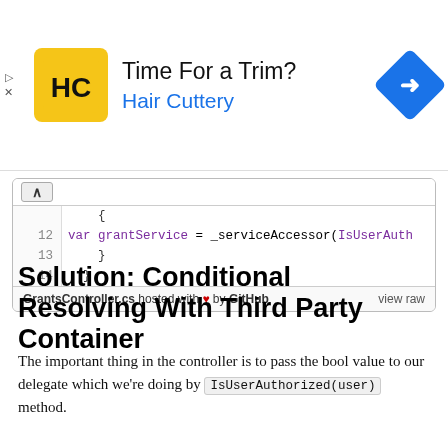[Figure (other): Advertisement banner for Hair Cuttery with logo, headline 'Time For a Trim?' and subtext 'Hair Cuttery', with a blue navigation arrow icon on the right and play/close controls on the left.]
[Figure (screenshot): Code snippet in C# showing lines 12-14 of GrantsController.cs. Line 12: var grantService = _serviceAccessor(IsUserAuth... Line 13: } Line 14: }. Footer shows 'GrantsController.cs hosted with heart by GitHub' and 'view raw' link.]
The important thing in the controller is to pass the bool value to our delegate which we're doing by IsUserAuthorized(user) method.
Solution: Conditional Resolving With Third Party Container